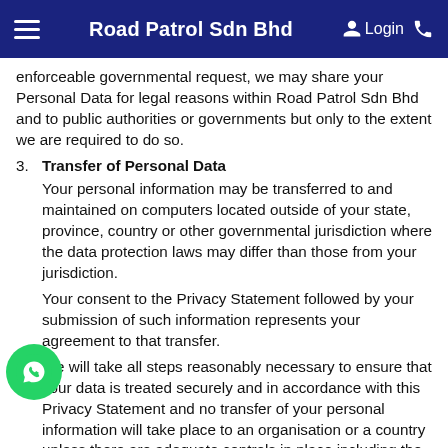Road Patrol Sdn Bhd
enforceable governmental request, we may share your Personal Data for legal reasons within Road Patrol Sdn Bhd and to public authorities or governments but only to the extent we are required to do so.
3. Transfer of Personal Data
Your personal information may be transferred to and maintained on computers located outside of your state, province, country or other governmental jurisdiction where the data protection laws may differ than those from your jurisdiction.
Your consent to the Privacy Statement followed by your submission of such information represents your agreement to that transfer.
We will take all steps reasonably necessary to ensure that your data is treated securely and in accordance with this Privacy Statement and no transfer of your personal information will take place to an organisation or a country unless there are adequate controls in place including the security of your data and other personal information.
Cookies
Use of our website or Service may use cookies and similar tracking technologies to track the activity on our website or service and hold certain information.